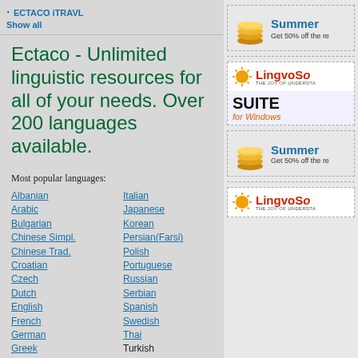· ECTACO iTRAVL
Show all
Ectaco - Unlimited linguistic resources for all of your needs. Over 200 languages available.
Most popular languages:
Albanian, Arabic, Bulgarian, Chinese Simpl., Chinese Trad., Croatian, Czech, Dutch, English, French, German, Greek, Italian, Japanese, Korean, Persian(Farsi), Polish, Portuguese, Russian, Serbian, Spanish, Swedish, Thai, Turkish
show all languages
Customer info
Ordering from our site is easy and secure.
[Figure (other): SSL Thawte secured site badge]
[Figure (other): Summer sale ad - Get 50% off the regular price (top right)]
[Figure (other): LingvoSoft Suite for Windows advertisement]
[Figure (other): Summer sale ad - Get 50% off the regular price (bottom right)]
[Figure (other): LingvoSoft advertisement (bottom right)]